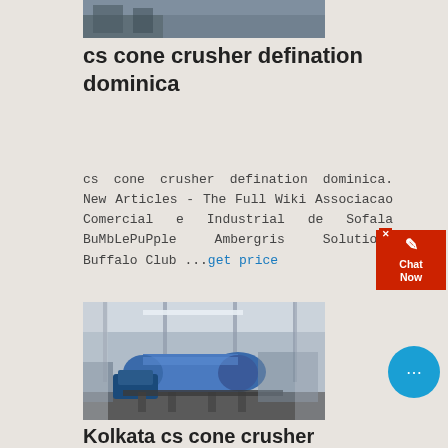[Figure (photo): Partial view of industrial machinery or construction site, top portion cropped]
cs cone crusher defination dominica
cs cone crusher defination dominica. New Articles - The Full Wiki Associacao Comercial e Industrial de Sofala BuMbLePuPple Ambergris Solutions Buffalo Club ...get price
[Figure (photo): Industrial facility interior showing a large blue rotary drum or cylindrical machine on a concrete floor inside a warehouse/factory building]
Kolkata cs cone crusher defination dominica